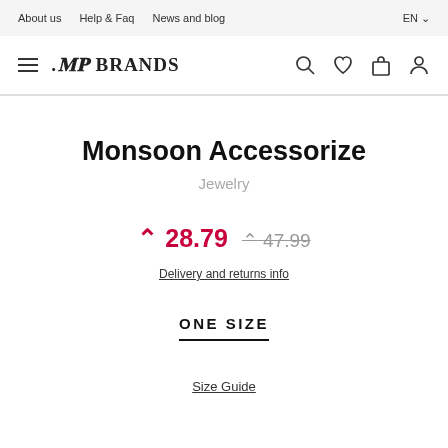About us  Help & Faq  News and blog  EN
[Figure (logo): My Brands logo with hamburger menu and icons for search, wishlist, bag, and account]
Monsoon Accessorize
Jewelry
^ 28.79  ^ 47.99
Delivery and returns info
ONE SIZE
Size Guide